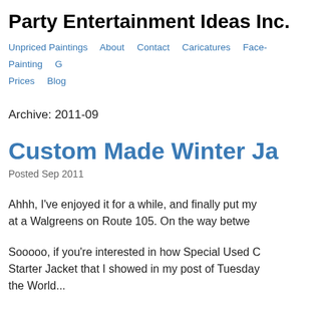Party Entertainment Ideas Inc.
Unpriced Paintings  About  Contact  Caricatures  Face-Painting  G  Prices  Blog
Archive: 2011-09
Custom Made Winter Ja
Posted Sep 2011
Ahhh, I've enjoyed it for a while, and finally put my at a Walgreens on Route 105. On the way betwe
Sooooo, if you're interested in how Special Used C Starter Jacket that I showed in my post of Tuesday the World...